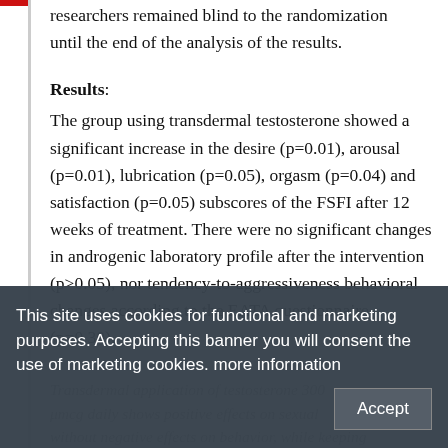researchers remained blind to the randomization until the end of the analysis of the results.
Results:
The group using transdermal testosterone showed a significant increase in the desire (p=0.01), arousal (p=0.01), lubrication (p=0.05), orgasm (p=0.04) and satisfaction (p=0.05) subscores of the FSFI after 12 weeks of treatment. There were no significant changes in androgenic laboratory profile after the intervention (p>0.05), nor tendency-to-aggressiveness behavioral changes according to the EATA questionnaire (p=0.30).
Transdermal application of testosterone 300 μmcg daily shows positive effects on sexual function without negative effects on behavior, while keeping